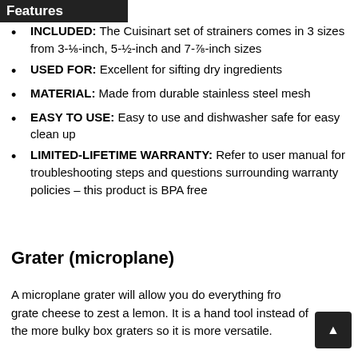Features
INCLUDED: The Cuisinart set of strainers comes in 3 sizes from 3-⅛-inch, 5-½-inch and 7-⅞-inch sizes
USED FOR: Excellent for sifting dry ingredients
MATERIAL: Made from durable stainless steel mesh
EASY TO USE: Easy to use and dishwasher safe for easy clean up
LIMITED-LIFETIME WARRANTY: Refer to user manual for troubleshooting steps and questions surrounding warranty policies – this product is BPA free
Grater (microplane)
A microplane grater will allow you do everything from grate cheese to zest a lemon. It is a hand tool instead of the more bulky box graters so it is more versatile.